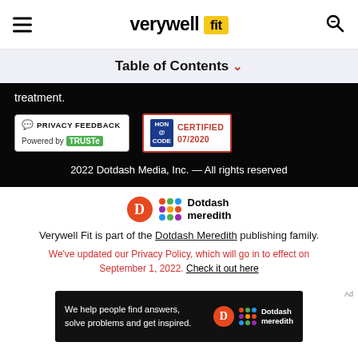verywell fit — navigation header with hamburger menu and search icon
Table of Contents
treatment.
[Figure (logo): Privacy Feedback badge powered by TRUSTe, and HON Code Certified 07/2020 badge]
2022 Dotdash Media, Inc. — All rights reserved
[Figure (logo): Dotdash Meredith logo with orange D circle and colorful mosaic icon]
Verywell Fit is part of the Dotdash Meredith publishing family.
We've updated our Privacy Policy, which will go in to effect on September 1, 2022. Check it out here
[Figure (screenshot): Ad banner: We help people find answers, solve problems and get inspired. Dotdash Meredith logo.]